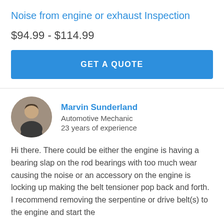Noise from engine or exhaust Inspection
$94.99 - $114.99
GET A QUOTE
Marvin Sunderland
Automotive Mechanic
23 years of experience
Hi there. There could be either the engine is having a bearing slap on the rod bearings with too much wear causing the noise or an accessory on the engine is locking up making the belt tensioner pop back and forth. I recommend removing the serpentine or drive belt(s) to the engine and start the